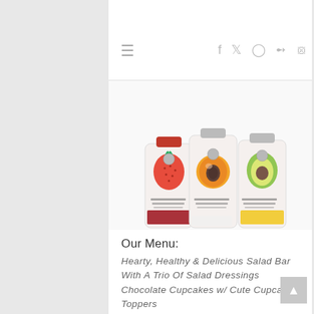[Figure (photo): Three salad dressing bottles with fruit illustrations on labels: strawberry (Red Wine Vinaigrette), peach/apricot (Poppy Seed Dressing), and avocado (Honey Mustard Dressing)]
Our Menu:
Hearty, Healthy & Delicious Salad Bar With A Trio Of Salad Dressings Chocolate Cupcakes w/ Cute Cupcake Toppers Lemon Refresher Punch-I may be posting about this, gotta find out if it is a "secret" family recipe or not:)